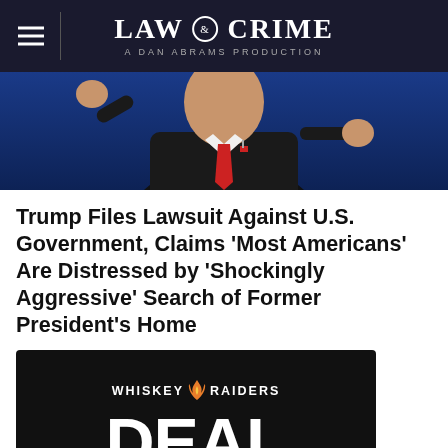LAW & CRIME — A DAN ABRAMS PRODUCTION
[Figure (photo): A man in a dark suit with a red tie, raising his fist, appears to be speaking at an event with a blue background.]
Trump Files Lawsuit Against U.S. Government, Claims 'Most Americans' Are Distressed by 'Shockingly Aggressive' Search of Former President's Home
[Figure (other): Whiskey Raiders Deal of the Day advertisement — dark background with large bold white text reading DEAL and OF THE, separated by a gold horizontal line, with the Whiskey Raiders logo at top.]